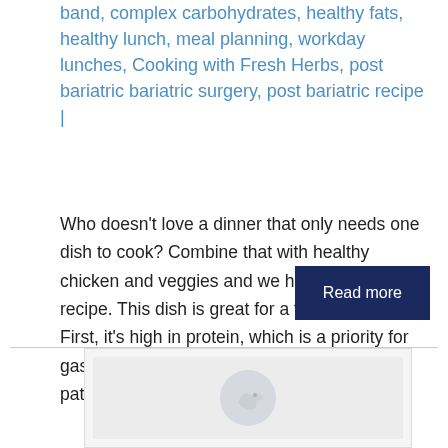band, complex carbohydrates, healthy fats, healthy lunch, meal planning, workday lunches, Cooking with Fresh Herbs, post bariatric bariatric surgery, post bariatric recipe |
Who doesn't love a dinner that only needs one dish to cook? Combine that with healthy chicken and veggies and we have a winning recipe. This dish is great for a few reasons. First, it's high in protein, which is a priority for gastric sleeve, gastric bypass, and lap band patients. Second, you can use
Read more
[Figure (illustration): Partial image preview with a light gray background showing a bird/cooking icon at the bottom of the page]